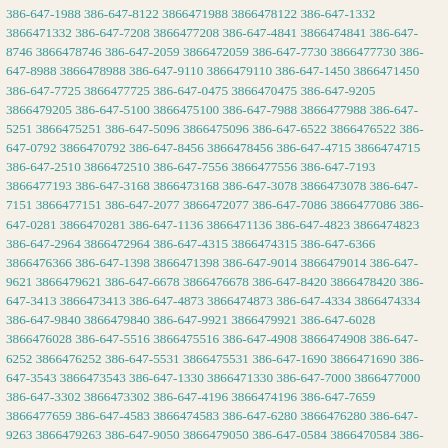386-647-1988 386-647-8122 3866471988 3866478122 386-647-1332 3866471332 386-647-7208 3866477208 386-647-4841 3866474841 386-647-8746 3866478746 386-647-2059 3866472059 386-647-7730 3866477730 386-647-8988 3866478988 386-647-9110 3866479110 386-647-1450 3866471450 386-647-7725 3866477725 386-647-0475 3866470475 386-647-9205 3866479205 386-647-5100 3866475100 386-647-7988 3866477988 386-647-5251 3866475251 386-647-5096 3866475096 386-647-6522 3866476522 386-647-0792 3866470792 386-647-8456 3866478456 386-647-4715 3866474715 386-647-2510 3866472510 386-647-7556 3866477556 386-647-7193 3866477193 386-647-3168 3866473168 386-647-3078 3866473078 386-647-7151 3866477151 386-647-2077 3866472077 386-647-7086 3866477086 386-647-0281 3866470281 386-647-1136 3866471136 386-647-4823 3866474823 386-647-2964 3866472964 386-647-4315 3866474315 386-647-6366 3866476366 386-647-1398 3866471398 386-647-9014 3866479014 386-647-9621 3866479621 386-647-6678 3866476678 386-647-8420 3866478420 386-647-3413 3866473413 386-647-4873 3866474873 386-647-4334 3866474334 386-647-9840 3866479840 386-647-9921 3866479921 386-647-6028 3866476028 386-647-5516 3866475516 386-647-4908 3866474908 386-647-6252 3866476252 386-647-5531 3866475531 386-647-1690 3866471690 386-647-3543 3866473543 386-647-1330 3866471330 386-647-7000 3866477000 386-647-3302 3866473302 386-647-4196 3866474196 386-647-7659 3866477659 386-647-4583 3866474583 386-647-6280 3866476280 386-647-9263 3866479263 386-647-9050 3866479050 386-647-0584 3866470584 386-647-5852 3866475852 386-647-4846 3866474846 386-647-5722 3866475722 386-647-9889 3866479889 386-647-0280 3866470280 386-